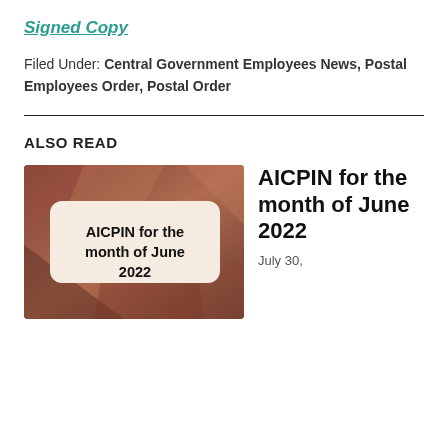Signed Copy
Filed Under: Central Government Employees News, Postal Employees Order, Postal Order
ALSO READ
[Figure (illustration): Thumbnail image with reddish-brown abstract geometric background and a rounded rectangle label box containing bold text: AICPIN for the month of June 2022]
AICPIN for the month of June 2022
July 30,